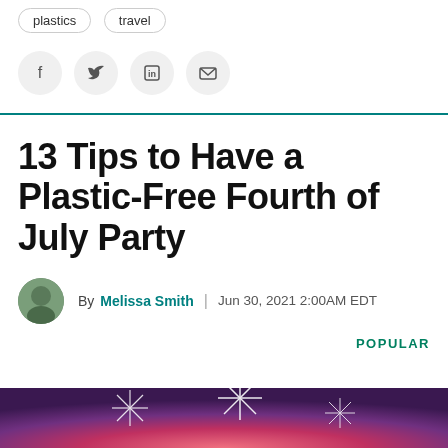plastics   travel
[Figure (other): Social share buttons: Facebook, Twitter, LinkedIn, Email]
13 Tips to Have a Plastic-Free Fourth of July Party
By Melissa Smith | Jun 30, 2021 2:00AM EDT
POPULAR
[Figure (photo): Fireworks image at the bottom of the page with pink and purple tones]